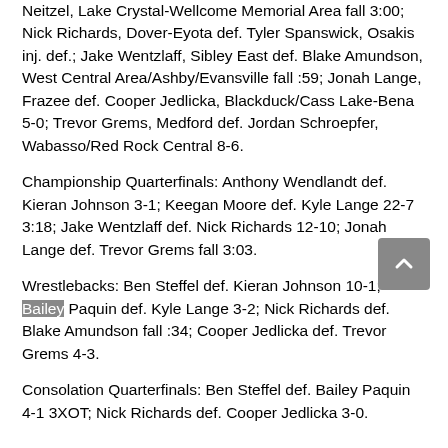Neitzel, Lake Crystal-Wellcome Memorial Area fall 3:00; Nick Richards, Dover-Eyota def. Tyler Spanswick, Osakis inj. def.; Jake Wentzlaff, Sibley East def. Blake Amundson, West Central Area/Ashby/Evansville fall :59; Jonah Lange, Frazee def. Cooper Jedlicka, Blackduck/Cass Lake-Bena 5-0; Trevor Grems, Medford def. Jordan Schroepfer, Wabasso/Red Rock Central 8-6.
Championship Quarterfinals: Anthony Wendlandt def. Kieran Johnson 3-1; Keegan Moore def. Kyle Lange 22-7 3:18; Jake Wentzlaff def. Nick Richards 12-10; Jonah Lange def. Trevor Grems fall 3:03.
Wrestlebacks: Ben Steffel def. Kieran Johnson 10-1; Bailey Paquin def. Kyle Lange 3-2; Nick Richards def. Blake Amundson fall :34; Cooper Jedlicka def. Trevor Grems 4-3.
Consolation Quarterfinals: Ben Steffel def. Bailey Paquin 4-1 3XOT; Nick Richards def. Cooper Jedlicka 3-0.